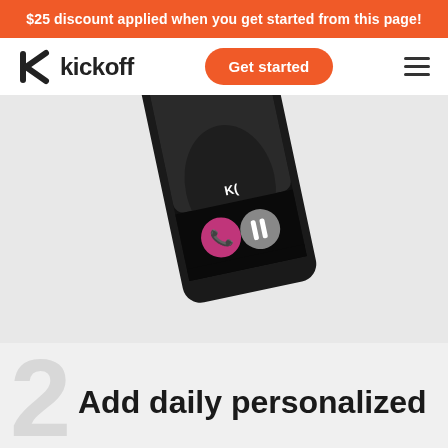$25 discount applied when you get started from this page!
[Figure (logo): Kickoff logo with stylized K icon and wordmark 'kickoff']
[Figure (screenshot): Phone mockup showing a video call interface with a person wearing a black shirt, with a pink hang-up button and grey pause button visible at the bottom of the screen]
Add daily personalized